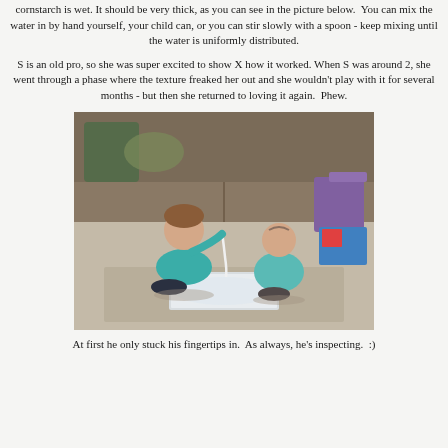cornstarch is wet. It should be very thick, as you can see in the picture below. You can mix the water in by hand yourself, your child can, or you can stir slowly with a spoon - keep mixing until the water is uniformly distributed.
S is an old pro, so she was super excited to show X how it worked. When S was around 2, she went through a phase where the texture freaked her out and she wouldn't play with it for several months - but then she returned to loving it again. Phew.
[Figure (photo): Two young children sitting on the floor playing with oobleck (cornstarch mixture) in a foil pan. The older child in a teal shirt is drizzling the mixture while the younger baby in a teal onesie watches. A couch is visible in the background.]
At first he only stuck his fingertips in. As always, he's inspecting. :)